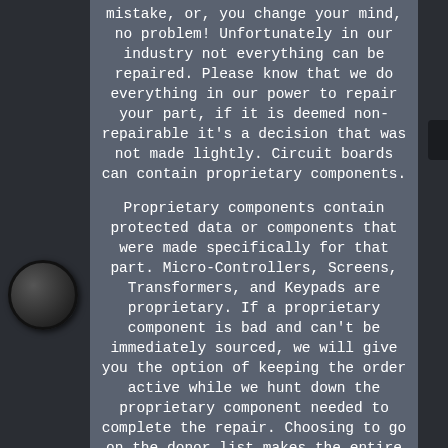mistake, or, you change your mind, no problem! Unfortunately in our industry not everything can be repaired. Please know that we do everything in our power to repair your part, if it is deemed non-repairable it's a decision that was not made lightly. Circuit boards can contain proprietary components.

Proprietary components contain protected data or components that were made specifically for that part. Micro-Controllers, Screens, Transformers, and Keypads are proprietary. If a proprietary component is bad and can't be immediately sourced, we will give you the option of keeping the order active while we hunt down the proprietary component needed to complete the repair. Choosing to go on the donor list makes the entire service non-refundable due to the